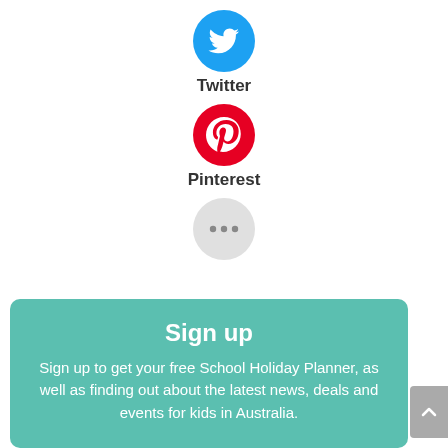[Figure (logo): Twitter circle icon — blue circle with white Twitter bird]
Twitter
[Figure (logo): Pinterest circle icon — red circle with white P letter]
Pinterest
[Figure (other): More options circle icon — light grey circle with three dots]
Sign up
Sign up to get your free School Holiday Planner, as well as finding out about the latest news, deals and events for kids in Australia.